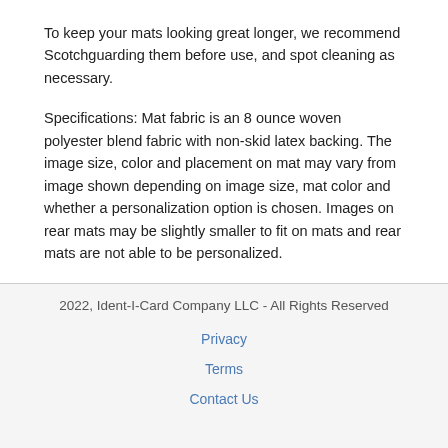To keep your mats looking great longer, we recommend Scotchguarding them before use, and spot cleaning as necessary.
Specifications: Mat fabric is an 8 ounce woven polyester blend fabric with non-skid latex backing. The image size, color and placement on mat may vary from image shown depending on image size, mat color and whether a personalization option is chosen. Images on rear mats may be slightly smaller to fit on mats and rear mats are not able to be personalized.
Personalized mats are non-refundable. Mats are personalized with heat pressed vinyl lettering. Made in the USA.
2022, Ident-I-Card Company LLC - All Rights Reserved
Privacy
Terms
Contact Us